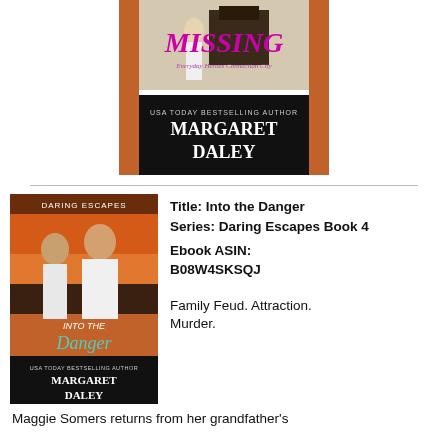[Figure (photo): Book cover for 'Missing' by Margaret Daley, showing a woman in white dress, with 'MISSING' in pink/magenta text and 'USA TODAY BESTSELLING AUTHOR MARGARET DALEY' at the bottom on a dark background.]
[Figure (photo): Book cover for 'Into the Danger' (Daring Escapes series, Book 4) by Margaret Daley, showing a woman and a man, with 'INTO THE DANGER' text and 'USA TODAY BESTSELLING AUTHOR MARGARET DALEY' at the bottom.]
Title: Into the Danger
Series: Daring Escapes Book 4
Ebook ASIN: B08W4SKSQJ
Family Feud. Attraction. Murder.
Maggie Somers returns from her grandfather's